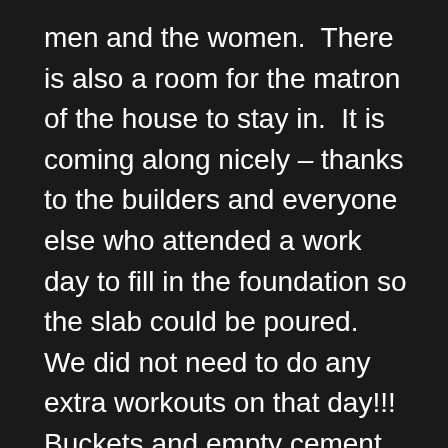men and the women.  There is also a room for the matron of the house to stay in.  It is coming along nicely – thanks to the builders and everyone else who attended a work day to fill in the foundation so the slab could be poured.  We did not need to do any extra workouts on that day!!!  Buckets and empty cement bags were filled with rocks, broken bricks, dirt and sand; then passed hand to hand down a human chain to dump them into the base of the foundation.  This fills up the middle portions and allows for less cement to be used for the slab.
March brought the first first missions teams to Zim in quite a while.  We had the honor of meeting and